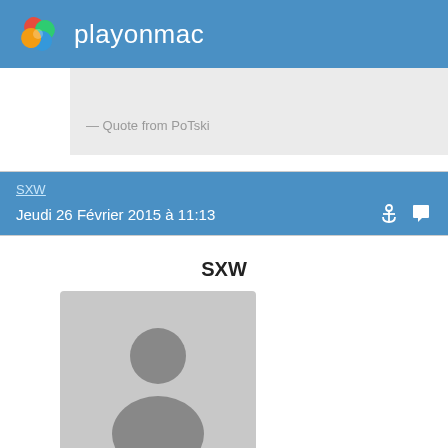playonmac
— Quote from PoTski
SXW
Jeudi 26 Février 2015 à 11:13
SXW
[Figure (photo): Default user avatar silhouette placeholder image]